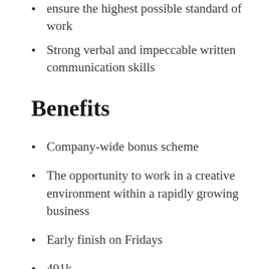ensure the highest possible standard of work
Strong verbal and impeccable written communication skills
Benefits
Company-wide bonus scheme
The opportunity to work in a creative environment within a rapidly growing business
Early finish on Fridays
401k
Comprehensive healthcare package
Sick & Safe time off